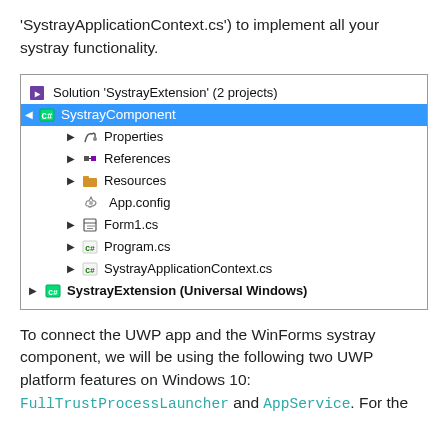'SystrayApplicationContext.cs') to implement all your systray functionality.
[Figure (screenshot): Visual Studio Solution Explorer screenshot showing 'SystrayExtension' solution with 2 projects. SystrayComponent project is selected (highlighted in blue) with children: Properties, References, Resources, App.config, Form1.cs, Program.cs, SystrayApplicationContext.cs. SystrayExtension (Universal Windows) project is listed below.]
To connect the UWP app and the WinForms systray component, we will be using the following two UWP platform features on Windows 10: FullTrustProcessLauncher and AppService. For the